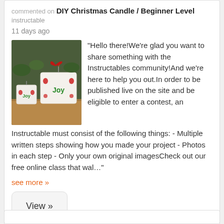commented on instructable DIY Christmas Candle / Beginner Level
11 days ago
[Figure (photo): Two white pillar candles decorated with red and green Christmas designs including the word Joy, placed on a wooden surface with green foliage in the background.]
“Hello there!We’re glad you want to share something with the Instructables community!And we’re here to help you out.In order to be published live on the site and be eligible to enter a contest, an Instructable must consist of the following things: - Multiple written steps showing how you made your project - Photos in each step - Only your own original imagesCheck out our free online class that wal…”
see more »
View »